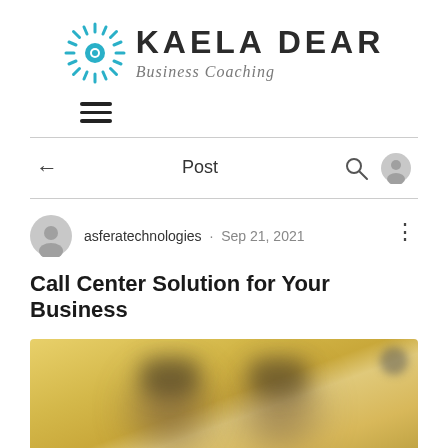[Figure (logo): Kaela Dear Business Coaching logo with sun/starburst icon in teal/blue on left, 'KAELA DEAR' in bold uppercase and 'Business Coaching' in italic gray below]
[Figure (other): Hamburger menu icon (three horizontal lines)]
Post
Call Center Solution for Your Business
asferatechnologies · Sep 21, 2021
[Figure (photo): Blurred photo with yellow background showing two people wearing headsets, used as article thumbnail]